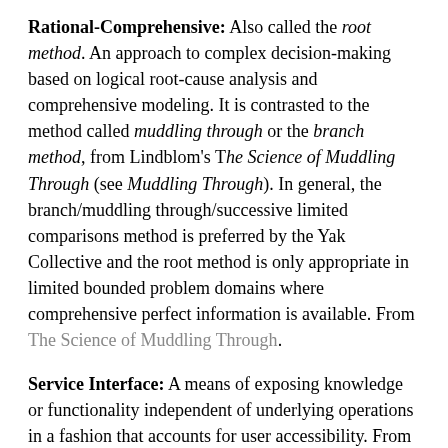Rational-Comprehensive: Also called the root method. An approach to complex decision-making based on logical root-cause analysis and comprehensive modeling. It is contrasted to the method called muddling through or the branch method, from Lindblom's The Science of Muddling Through (see Muddling Through). In general, the branch/muddling through/successive limited comparisons method is preferred by the Yak Collective and the root method is only appropriate in limited bounded problem domains where comprehensive perfect information is available. From The Science of Muddling Through.
Service Interface: A means of exposing knowledge or functionality independent of underlying operations in a fashion that accounts for user accessibility. From Steve Yegge's Platform Rant.
Service-Oriented Architecture: A style of designing